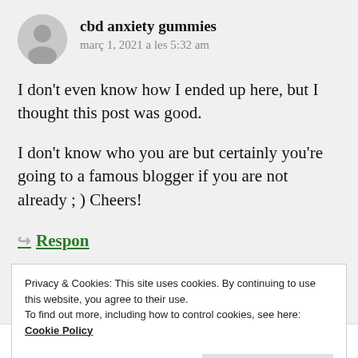cbd anxiety gummies
març 1, 2021 a les 5:32 am
I don't even know how I ended up here, but I thought this post was good.
I don't know who you are but certainly you're going to a famous blogger if you are not already ; ) Cheers!
↪ Respon
Privacy & Cookies: This site uses cookies. By continuing to use this website, you agree to their use.
To find out more, including how to control cookies, see here:
Cookie Policy
Close and accept
would like to say that this write-up very